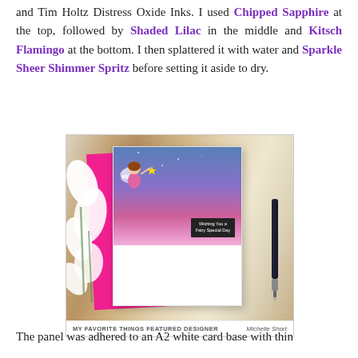and Tim Holtz Distress Oxide Inks. I used Chipped Sapphire at the top, followed by Shaded Lilac in the middle and Kitsch Flamingo at the bottom. I then splattered it with water and Sparkle Sheer Shimmer Spritz before setting it aside to dry.
[Figure (photo): Photo of a handmade card featuring a fairy character with text 'Wishing You a Fairy Special Day', displayed on a pink card stock on a wooden surface surrounded by white flowers and a pen. Caption reads 'MY FAVORITE THINGS FEATURED DESIGNER' and 'Michelle Short'.]
MY FAVORITE THINGS FEATURED DESIGNER    Michelle Short
The panel was adhered to an A2 white card base with thin